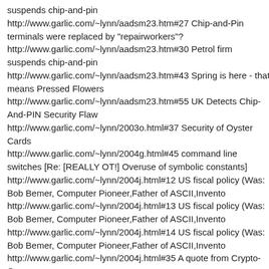suspends chip-and-pin http://www.garlic.com/~lynn/aadsm23.htm#27 Chip-and-Pin terminals were replaced by "repairworkers"?
http://www.garlic.com/~lynn/aadsm23.htm#30 Petrol firm suspends chip-and-pin
http://www.garlic.com/~lynn/aadsm23.htm#43 Spring is here - that means Pressed Flowers
http://www.garlic.com/~lynn/aadsm23.htm#55 UK Detects Chip-And-PIN Security Flaw
http://www.garlic.com/~lynn/2003o.html#37 Security of Oyster Cards
http://www.garlic.com/~lynn/2004g.html#45 command line switches [Re: [REALLY OT!] Overuse of symbolic constants]
http://www.garlic.com/~lynn/2004j.html#12 US fiscal policy (Was: Bob Bemer, Computer Pioneer,Father of ASCII,Invento
http://www.garlic.com/~lynn/2004j.html#13 US fiscal policy (Was: Bob Bemer, Computer Pioneer,Father of ASCII,Invento
http://www.garlic.com/~lynn/2004j.html#14 US fiscal policy (Was: Bob Bemer, Computer Pioneer,Father of ASCII,Invento
http://www.garlic.com/~lynn/2004j.html#35 A quote from Crypto-Gram
http://www.garlic.com/~lynn/2004j.html#39 Methods of payment
http://www.garlic.com/~lynn/2004j.html#44 Methods of payment
http://www.garlic.com/~lynn/2005u.html#13 AMD to leave x86 behind?